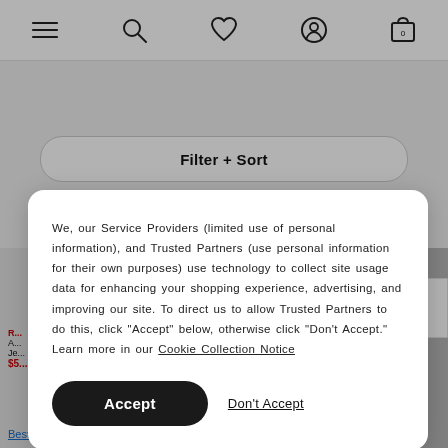Navigation bar with menu, search, wishlist, account, and cart (0) icons
Filter + Sort
[Figure (photo): Two product photos side by side: left shows a white hoodie with a graphic logo, right shows a male model wearing dark blue skinny jeans with white sneakers]
We, our Service Providers (limited use of personal information), and Trusted Partners (use personal information for their own purposes) use technology to collect site usage data for enhancing your shopping experience, advertising, and improving our site. To direct us to allow Trusted Partners to do this, click “Accept” below, otherwise click “Don’t Accept.” Learn more in our Cookie Collection Notice
Accept
Don't Accept
Skinny
Best Sellers